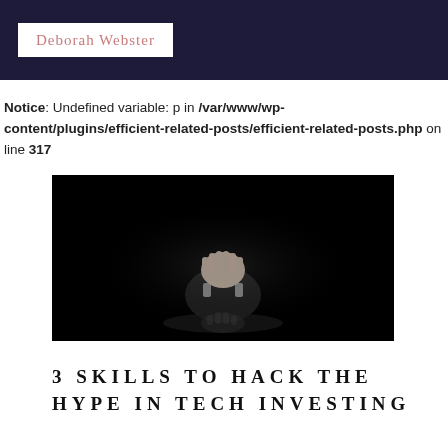Deborah Webster
Notice: Undefined variable: p in /var/www/wp-content/plugins/efficient-related-posts/efficient-related-posts.php on line 317
[Figure (photo): Black and white photo of a person in a suit sitting at a table with head buried in hands, reflection visible below, against a dark background]
3 SKILLS TO HACK THE HYPE IN TECH INVESTING